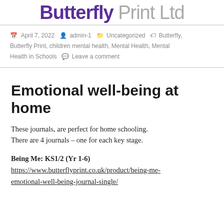Butterfly Print Ltd
April 7, 2022  admin-1  Uncategorized  Butterfly, Butterfly Print, children mental health, Mental Health, Mental Health in Schools  Leave a comment
Emotional well-being at home
These journals, are perfect for home schooling. There are 4 journals – one for each key stage.
Being Me: KS1/2 (Yr 1-6)
https://www.butterflyprint.co.uk/product/being-me-emotional-well-being-journal-single/